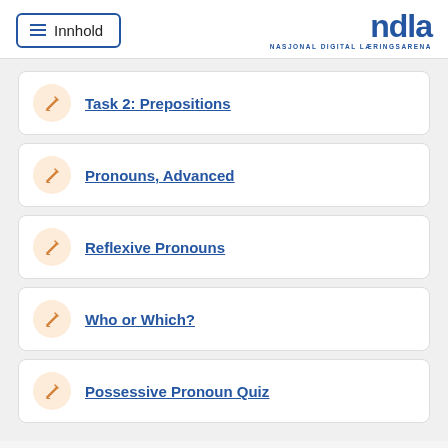Innhold | NDLA - Nasjonal Digital Læringsarena
Task 2: Prepositions
Pronouns, Advanced
Reflexive Pronouns
Who or Which?
Possessive Pronoun Quiz